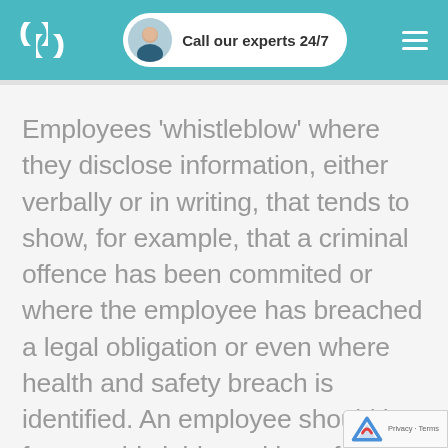Call our experts 24/7
Employees ‘whistleblow’ where they disclose information, either verbally or in writing, that tends to show, for example, that a criminal offence has been commited or where the employee has breached a legal obligation or even where health and safety breach is identified. An employee should be free to whistleblow without fear of retribution however in reality employers do not always protect